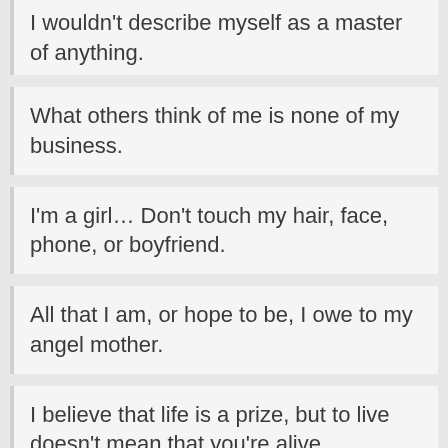I wouldn't describe myself as a master of anything.
What others think of me is none of my business.
I'm a girl… Don't touch my hair, face, phone, or boyfriend.
All that I am, or hope to be, I owe to my angel mother.
I believe that life is a prize, but to live doesn't mean that you're alive.